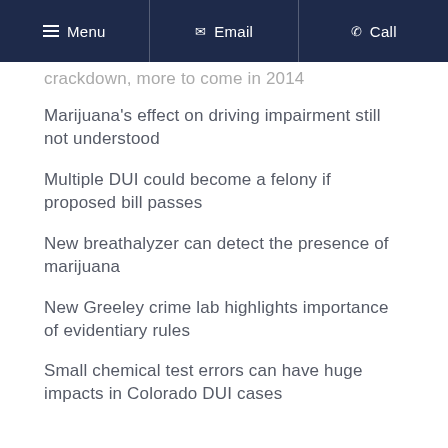Menu | Email | Call
… crackdown, more to come in 2014
Marijuana's effect on driving impairment still not understood
Multiple DUI could become a felony if proposed bill passes
New breathalyzer can detect the presence of marijuana
New Greeley crime lab highlights importance of evidentiary rules
Small chemical test errors can have huge impacts in Colorado DUI cases